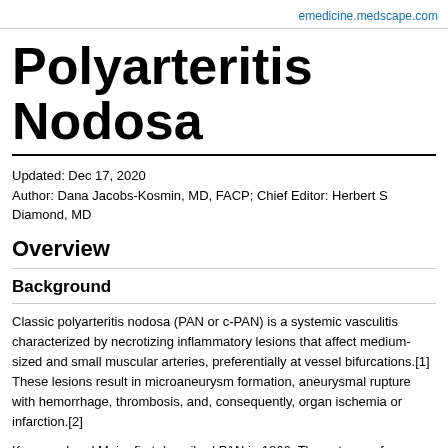emedicine.medscape.com
Polyarteritis Nodosa
Updated: Dec 17, 2020
Author: Dana Jacobs-Kosmin, MD, FACP; Chief Editor: Herbert S Diamond, MD
Overview
Background
Classic polyarteritis nodosa (PAN or c-PAN) is a systemic vasculitis characterized by necrotizing inflammatory lesions that affect medium-sized and small muscular arteries, preferentially at vessel bifurcations.[1] These lesions result in microaneurysm formation, aneurysmal rupture with hemorrhage, thrombosis, and, consequently, organ ischemia or infarction.[2]
Kussmaul and Maier first described PAN in 1866. The autopsy of a patient